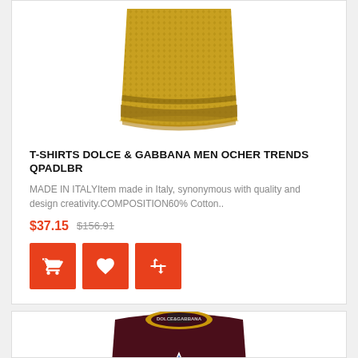[Figure (photo): Gold/ochre knit patterned t-shirt, cropped view of bottom hem area]
T-SHIRTS DOLCE & GABBANA MEN OCHER TRENDS QPADLBR
MADE IN ITALYItem made in Italy, synonymous with quality and design creativity.COMPOSITION60% Cotton..
$37.15  $156.91
[Figure (photo): Dark maroon/burgundy Dolce & Gabbana t-shirt with gold collar and DG Super logo graphic on chest]